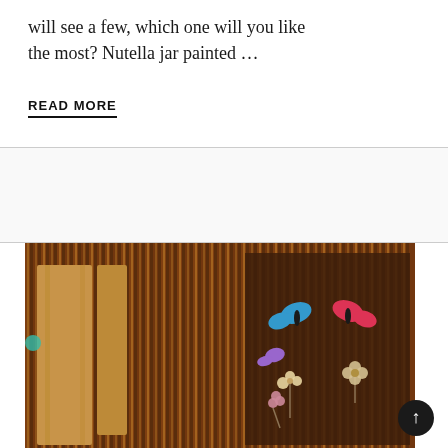will see a few, which one will you like the most? Nutella jar painted ...
READ MORE
[Figure (photo): Bamboo mat craft with colorful butterfly and flower decorations pinned to a wooden panel backdrop]
[Figure (other): Scroll-to-top circular button with upward arrow]